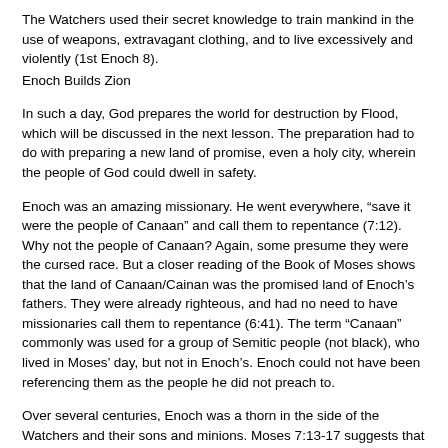The Watchers used their secret knowledge to train mankind in the use of weapons, extravagant clothing, and to live excessively and violently (1st Enoch 8).
Enoch Builds Zion
In such a day, God prepares the world for destruction by Flood, which will be discussed in the next lesson. The preparation had to do with preparing a new land of promise, even a holy city, wherein the people of God could dwell in safety.
Enoch was an amazing missionary. He went everywhere, “save it were the people of Canaan” and call them to repentance (7:12). Why not the people of Canaan? Again, some presume they were the cursed race. But a closer reading of the Book of Moses shows that the land of Canaan/Cainan was the promised land of Enoch’s fathers. They were already righteous, and had no need to have missionaries call them to repentance (6:41). The term “Canaan” commonly was used for a group of Semitic people (not black), who lived in Moses’ day, but not in Enoch’s. Enoch could not have been referencing them as the people he did not preach to.
Over several centuries, Enoch was a thorn in the side of the Watchers and their sons and minions. Moses 7:13-17 suggests that Enoch and his...